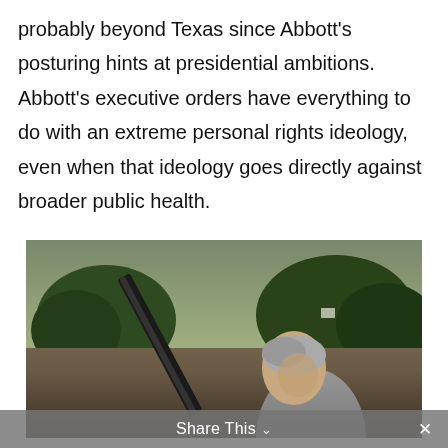probably beyond Texas since Abbott's posturing hints at presidential ambitions. Abbott's executive orders have everything to do with an extreme personal rights ideology, even when that ideology goes directly against broader public health.
[Figure (photo): A man with gray hair holding a rifle raised upward, photographed outdoors with trees and sky in the background.]
Share This ∨  ✕